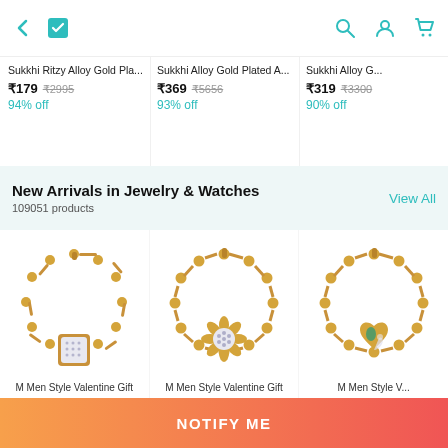Navigation bar with back, cart, search, account, and cart icons
Sukkhi Ritzy Alloy Gold Pla... ₹179 ₹2995 94% off
Sukkhi Alloy Gold Plated A... ₹369 ₹5656 93% off
Sukkhi Alloy G... ₹319 ₹3300 90% off
New Arrivals in Jewelry & Watches
109051 products
View All
[Figure (photo): Gold bracelet with square diamond-studded pendant]
[Figure (photo): Gold bracelet with round flower-shaped crystal pendant]
[Figure (photo): Gold bracelet with heart-shaped colorful pendant]
M Men Style Valentine Gift
M Men Style Valentine Gift
M Men Style V...
NOTIFY ME